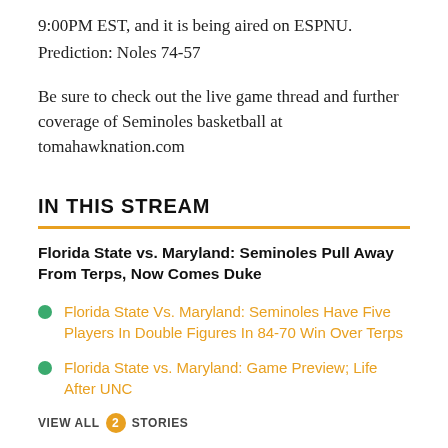9:00PM EST, and it is being aired on ESPNU.
Prediction: Noles 74-57
Be sure to check out the live game thread and further coverage of Seminoles basketball at tomahawknation.com
IN THIS STREAM
Florida State vs. Maryland: Seminoles Pull Away From Terps, Now Comes Duke
Florida State Vs. Maryland: Seminoles Have Five Players In Double Figures In 84-70 Win Over Terps
Florida State vs. Maryland: Game Preview; Life After UNC
VIEW ALL 2 STORIES